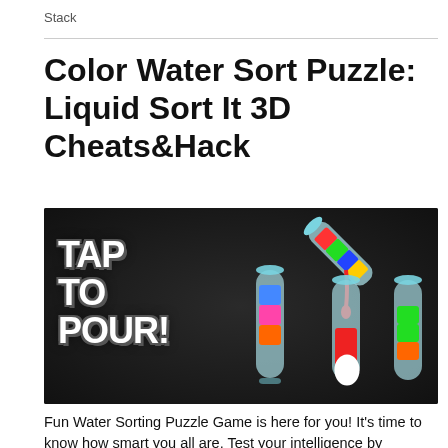Stack
Color Water Sort Puzzle: Liquid Sort It 3D Cheats&Hack
[Figure (illustration): Game promotional image for Color Water Sort Puzzle showing colorful test tubes being poured with liquid on a dark background, with bold white text reading 'TAP TO POUR!']
Fun Water Sorting Puzzle Game is here for you! It's time to know how smart you all are. Test your intelligence by